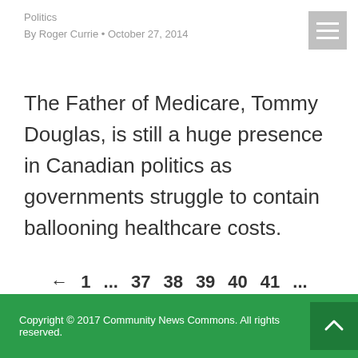Politics
By Roger Currie • October 27, 2014
The Father of Medicare, Tommy Douglas, is still a huge presence in Canadian politics as governments struggle to contain ballooning healthcare costs.
← 1 … 37 38 39 40 41 … 60 →
Copyright © 2017 Community News Commons. All rights reserved.